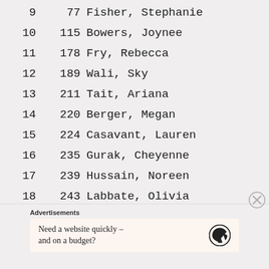| Rank | Bib | Name |
| --- | --- | --- |
| 9 | 77 | Fisher, Stephanie |
| 10 | 115 | Bowers, Joynee |
| 11 | 178 | Fry, Rebecca |
| 12 | 189 | Wali, Sky |
| 13 | 211 | Tait, Ariana |
| 14 | 220 | Berger, Megan |
| 15 | 224 | Casavant, Lauren |
| 16 | 235 | Gurak, Cheyenne |
| 17 | 239 | Hussain, Noreen |
| 18 | 243 | Labbate, Olivia |
| 19 | 256 | Peralta, Rourke |
| 20 | 261 | Sollner, Grace |
| 21 | 282 | Bobst, Allison |
Advertisements
Need a website quickly – and on a budget?